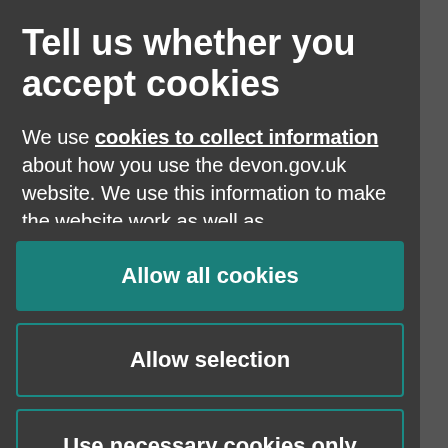Tell us whether you accept cookies
We use cookies to collect information about how you use the devon.gov.uk website. We use this information to make the website work as well as
Allow all cookies
Allow selection
Use necessary cookies only
Powered by Cookiebot by Usercentrics